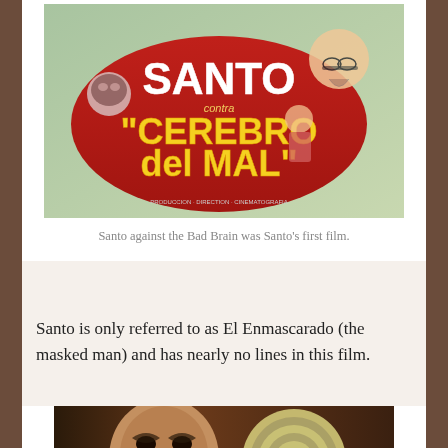[Figure (photo): Movie poster for 'Santo contra Cerebro del Mal' — a Mexican wrestling film poster with red and yellow text on a red banner, with illustrated characters including a masked wrestler and a man in glasses.]
Santo against the Bad Brain was Santo's first film.
Santo is only referred to as El Enmascarado (the masked man) and has nearly no lines in this film.
[Figure (photo): A dramatic black and white film still showing a man screaming or grimacing, with a swirling hypnotic spiral disc visible to the right.]